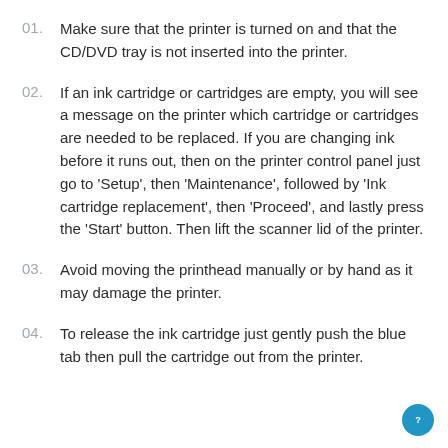01. Make sure that the printer is turned on and that the CD/DVD tray is not inserted into the printer.
02. If an ink cartridge or cartridges are empty, you will see a message on the printer which cartridge or cartridges are needed to be replaced. If you are changing ink before it runs out, then on the printer control panel just go to 'Setup', then 'Maintenance', followed by 'Ink cartridge replacement', then 'Proceed', and lastly press the 'Start' button. Then lift the scanner lid of the printer.
03. Avoid moving the printhead manually or by hand as it may damage the printer.
04. To release the ink cartridge just gently push the blue tab then pull the cartridge out from the printer.